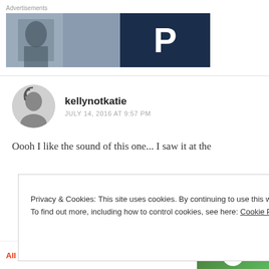[Figure (screenshot): Advertisement banner with photo on left and dark blue parking logo with letter P on right]
kellynotkatie
JULY 14, 2016 AT 9:57 PM
Oooh I like the sound of this one... I saw it at the
Privacy & Cookies: This site uses cookies. By continuing to use this website, you agree to their use.
To find out more, including how to control cookies, see here: Cookie Policy
Close and accept
[Figure (screenshot): Bottom app banner showing All in One Free App text in red and green app icon]